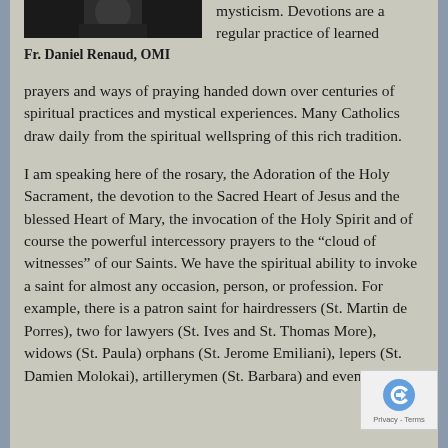[Figure (photo): Portrait photo of Fr. Daniel Renaud, OMI (dark/black background)]
Fr. Daniel Renaud, OMI
mysticism. Devotions are a regular practice of learned prayers and ways of praying handed down over centuries of spiritual practices and mystical experiences. Many Catholics draw daily from the spiritual wellspring of this rich tradition.
I am speaking here of the rosary, the Adoration of the Holy Sacrament, the devotion to the Sacred Heart of Jesus and the blessed Heart of Mary, the invocation of the Holy Spirit and of course the powerful intercessory prayers to the “cloud of witnesses” of our Saints. We have the spiritual ability to invoke a saint for almost any occasion, person, or profession. For example, there is a patron saint for hairdressers (St. Martin de Porres), two for lawyers (St. Ives and St. Thomas More), widows (St. Paula) orphans (St. Jerome Emiliani), lepers (St. Damien Molokai), artillerymen (St. Barbara) and even the